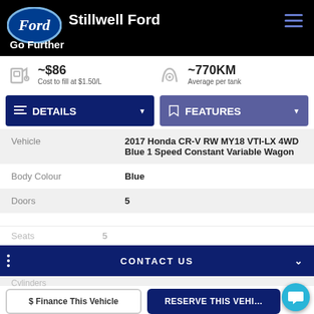[Figure (logo): Ford oval logo and Stillwell Ford header with Go Further tagline]
~$86 Cost to fill at $1.50/L
~770KM Average per tank
DETAILS
FEATURES
|  |  |
| --- | --- |
| Vehicle | 2017 Honda CR-V RW MY18 VTI-LX 4WD Blue 1 Speed Constant Variable Wagon |
| Body Colour | Blue |
| Doors | 5 |
| Seats | 5 |
| Cylinders |  |
CONTACT US
$ Finance This Vehicle
RESERVE THIS VEHI...